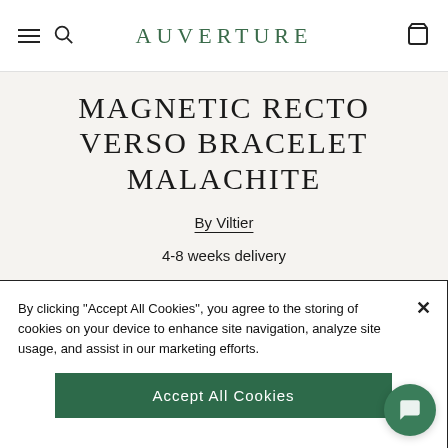AUVERTURE
MAGNETIC RECTO VERSO BRACELET MALACHITE
By Viltier
4-8 weeks delivery
♡ Add to wishlist
By clicking "Accept All Cookies", you agree to the storing of cookies on your device to enhance site navigation, analyze site usage, and assist in our marketing efforts.
Accept All Cookies